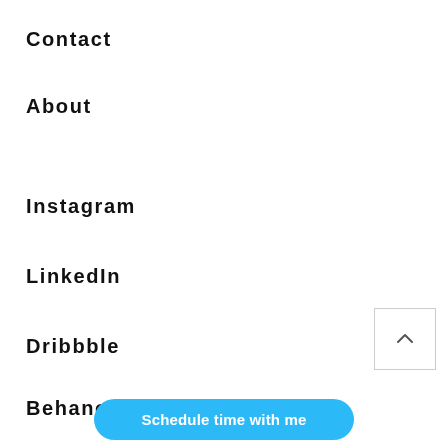Contact
About
Instagram
LinkedIn
Dribbble
Behance
[Figure (other): Scroll to top button with upward chevron arrow inside a square border]
Schedule time with me